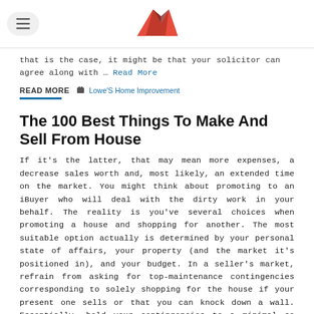[Logo and menu navigation header]
that is the case, it might be that your solicitor can agree along with … Read More
READ MORE   Lowe'S Home Improvement
The 100 Best Things To Make And Sell From House
If it's the latter, that may mean more expenses, a decrease sales worth and, most likely, an extended time on the market. You might think about promoting to an iBuyer who will deal with the dirty work in your behalf. The reality is you've several choices when promoting a house and shopping for another. The most suitable option actually is determined by your personal state of affairs, your property (and the market it's positioned in), and your budget. In a seller's market, refrain from asking for top-maintenance contingencies corresponding to solely shopping for the house if your present one sells or that you can knock down a wall. Essentially, hold your contingencies to a minimal so the house seller has fewer hurdles to complete in selling their home. Because of the shortage of accessible houses, and the excessive quantity of patrons nonetheless looking for a